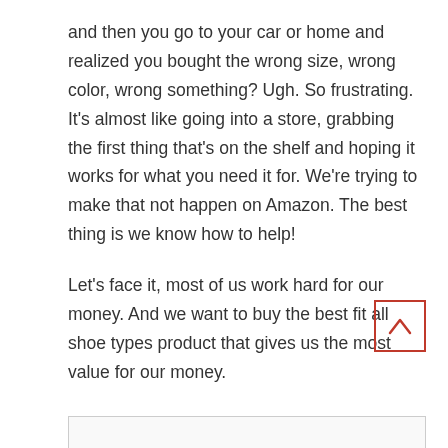and then you go to your car or home and realized you bought the wrong size, wrong color, wrong something? Ugh. So frustrating. It's almost like going into a store, grabbing the first thing that's on the shelf and hoping it works for what you need it for. We're trying to make that not happen on Amazon. The best thing is we know how to help!
Let's face it, most of us work hard for our money. And we want to buy the best fit all shoe types product that gives us the most value for our money.
[Figure (other): Back to top button with upward caret arrow, red border]
[Figure (other): Bottom bordered box/panel at the bottom of the page]